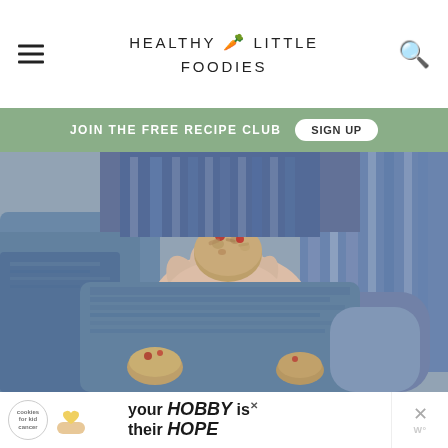HEALTHY LITTLE FOODIES
JOIN THE FREE RECIPE CLUB  SIGN UP
[Figure (photo): Child holding a small oat and berry muffin/cookie, wearing a blue striped shirt and denim shorts. More cookies/muffins visible below.]
[Figure (photo): Advertisement banner: Cookies for Kid's Cancer – your HOBBY is their HOPE]